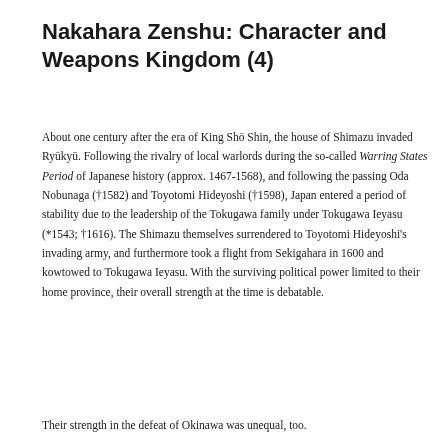Nakahara Zenshu: Character and Weapons Kingdom (4)
About one century after the era of King Shō Shin, the house of Shimazu invaded Ryūkyū. Following the rivalry of local warlords during the so-called Warring States Period of Japanese history (approx. 1467-1568), and following the passing Oda Nobunaga (†1582) and Toyotomi Hideyoshi (†1598), Japan entered a period of stability due to the leadership of the Tokugawa family under Tokugawa Ieyasu (*1543; †1616). The Shimazu themselves surrendered to Toyotomi Hideyoshi's invading army, and furthermore took a flight from Sekigahara in 1600 and kowtowed to Tokugawa Ieyasu. With the surviving political power limited to their home province, their overall strength at the time is debatable.
Their strength in the defeat of Okinawa was unequal, too.